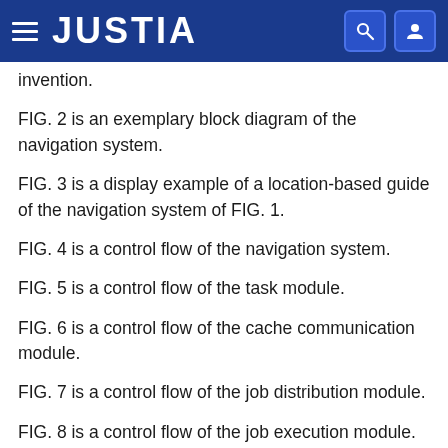JUSTIA
invention.
FIG. 2 is an exemplary block diagram of the navigation system.
FIG. 3 is a display example of a location-based guide of the navigation system of FIG. 1.
FIG. 4 is a control flow of the navigation system.
FIG. 5 is a control flow of the task module.
FIG. 6 is a control flow of the cache communication module.
FIG. 7 is a control flow of the job distribution module.
FIG. 8 is a control flow of the job execution module.